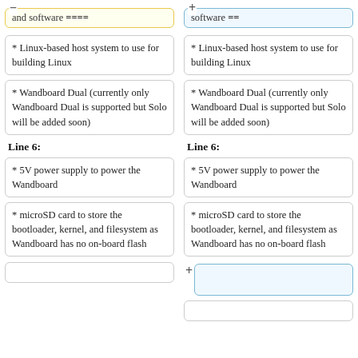and software ====
software ==
* Linux-based host system to use for building Linux
* Linux-based host system to use for building Linux
* Wandboard Dual (currently only Wandboard Dual is supported but Solo will be added soon)
* Wandboard Dual (currently only Wandboard Dual is supported but Solo will be added soon)
Line 6:
Line 6:
* 5V power supply to power the Wandboard
* 5V power supply to power the Wandboard
* microSD card to store the bootloader, kernel, and filesystem as Wandboard has no on-board flash
* microSD card to store the bootloader, kernel, and filesystem as Wandboard has no on-board flash